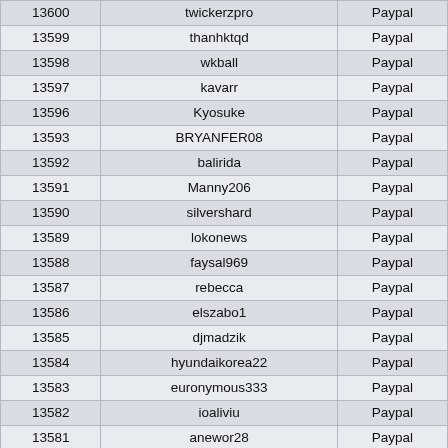| 13600 | twickerzpro | Paypal |
| 13599 | thankktqd | Paypal |
| 13598 | wkball | Paypal |
| 13597 | kavarr | Paypal |
| 13596 | Kyosuke | Paypal |
| 13593 | BRYANFER08 | Paypal |
| 13592 | balirida | Paypal |
| 13591 | Manny206 | Paypal |
| 13590 | silvershard | Paypal |
| 13589 | lokonews | Paypal |
| 13588 | faysal969 | Paypal |
| 13587 | rebecca | Paypal |
| 13586 | elszabo1 | Paypal |
| 13585 | djmadzik | Paypal |
| 13584 | hyundaikorea22 | Paypal |
| 13583 | euronymous333 | Paypal |
| 13582 | ioaliviu | Paypal |
| 13581 | anewor28 | Paypal |
| 13580 | twickerzpro | Paypal |
| 13579 | twickerzpro | Paypal |
| 13578 | twickerzpro | Paypal |
| 13577 | twickerzpro | Paypal |
| 13576 | twickerzpro | Paypal |
| 13575 | katia36 | Paypal |
| 13574 | ns0211ptc | Paypal |
| 13573 | mihi16 | Paypal |
| 13572 | wendynguyen | Paypal |